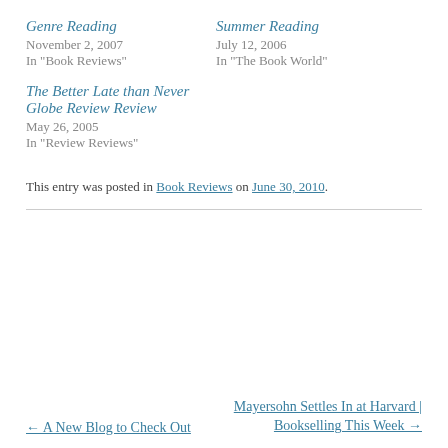Genre Reading
November 2, 2007
In "Book Reviews"
Summer Reading
July 12, 2006
In "The Book World"
The Better Late than Never Globe Review Review
May 26, 2005
In "Review Reviews"
This entry was posted in Book Reviews on June 30, 2010.
← A New Blog to Check Out
Mayersohn Settles In at Harvard | Bookselling This Week →